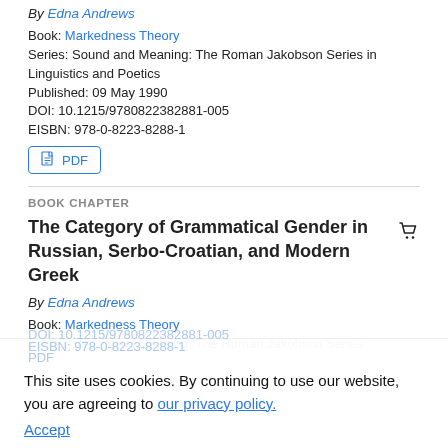By Edna Andrews
Book: Markedness Theory
Series: Sound and Meaning: The Roman Jakobson Series in Linguistics and Poetics
Published: 09 May 1990
DOI: 10.1215/9780822382881-005
EISBN: 978-0-8223-8288-1
PDF
BOOK CHAPTER
The Category of Grammatical Gender in Russian, Serbo-Croatian, and Modern Greek
By Edna Andrews
Book: Markedness Theory
Series: Sound and Meaning: The Roman Jakobson Series in Linguistics and Poetics
This site uses cookies. By continuing to use our website, you are agreeing to our privacy policy.
Accept